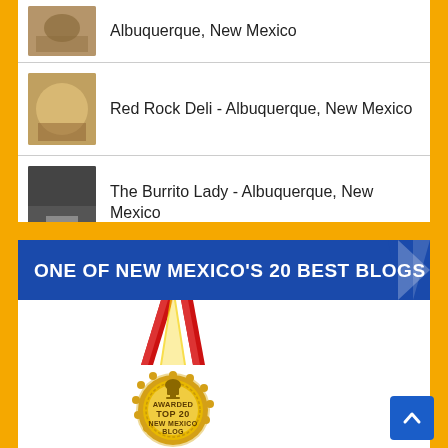Albuquerque, New Mexico
Red Rock Deli - Albuquerque, New Mexico
The Burrito Lady - Albuquerque, New Mexico
[Figure (infographic): Blue banner reading ONE OF NEW MEXICO'S 20 BEST BLOGS with white chevron on right]
[Figure (illustration): Gold medal with red ribbon awarded Top 20 New Mexico Blog with trophy icon]